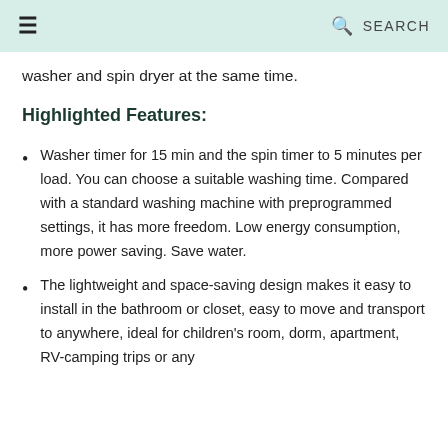☰  🔍 SEARCH
washer and spin dryer at the same time.
Highlighted Features:
Washer timer for 15 min and the spin timer to 5 minutes per load. You can choose a suitable washing time. Compared with a standard washing machine with preprogrammed settings, it has more freedom. Low energy consumption, more power saving. Save water.
The lightweight and space-saving design makes it easy to install in the bathroom or closet, easy to move and transport to anywhere, ideal for children's room, dorm, apartment, RV-camping trips or any